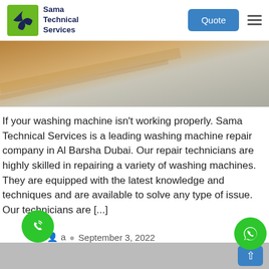Sama Technical Services | Quote
[Figure (photo): Close-up photo of a wooden surface and marble/stone surface — hero image for washing machine repair service page]
If your washing machine isn't working properly. Sama Technical Services is a leading washing machine repair company in Al Barsha Dubai. Our repair technicians are highly skilled in repairing a variety of washing machines. They are equipped with the latest knowledge and techniques and are available to solve any type of issue. Our technicians are [...]
September 3, 2022
Washing Machine Repair Park Island
↑